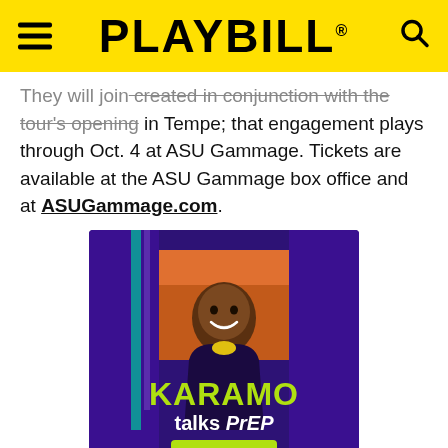PLAYBILL
They will join created in conjunction with the tour's opening in Tempe; that engagement plays through Oct. 4 at ASU Gammage. Tickets are available at the ASU Gammage box office and at ASUGammage.com.
[Figure (photo): Advertisement image: Man smiling seated in a studio set with purple/teal lighting, palm trees in background, sunset colors. Bold yellow-green text reads 'KARAMO talks PrEP' with a yellow-green 'Watch ▶' button. Bottom shows ViiV Healthcare logo and copyright text '©2022 ViiV Healthcare or licensor. HVUWBAN220004 June 2022 Produced in USA.']
PAID ADVERTISEMENT